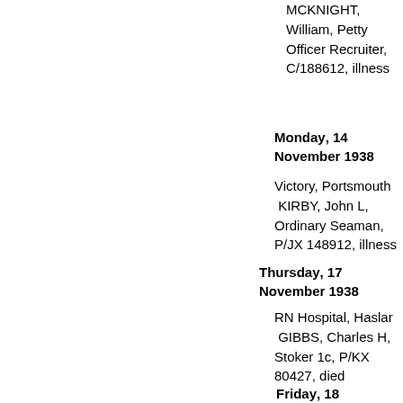MCKNIGHT, William, Petty Officer Recruiter, C/188612, illness
Monday, 14 November 1938
Victory, Portsmouth
KIRBY, John L, Ordinary Seaman, P/JX 148912, illness
Thursday, 17 November 1938
RN Hospital, Haslar
GIBBS, Charles H, Stoker 1c, P/KX 80427, died
Friday, 18 November 1938
Cochrane, Rosyth
AUSTEN, Frederick T L, Chief Engine Room Artificer 2c, C/M 31522, illness
Diamond, destroyer, sampan accident, all died
CONNOR, John, Able